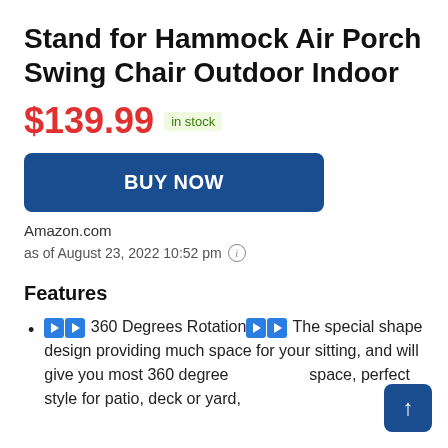Stand for Hammock Air Porch Swing Chair Outdoor Indoor
$139.99 in stock
BUY NOW
Amazon.com
as of August 23, 2022 10:52 pm
Features
▶▶ 360 Degrees Rotation▶▶ The special shape design providing much space for your sitting, and will give you most 360 degree rotational space, perfect style for patio, deck or yard,